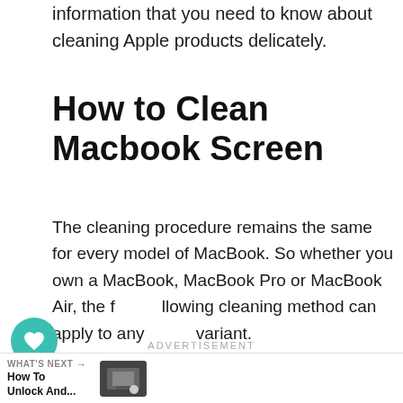information that you need to know about cleaning Apple products delicately.
How to Clean Macbook Screen
The cleaning procedure remains the same for every model of MacBook. So whether you own a MacBook, MacBook Pro or MacBook Air, the following cleaning method can apply to any variant.
1. Shut down your MacBook & unplug all external power cables and devices.
ADVERTISEMENT
WHAT'S NEXT → How To Unlock And...